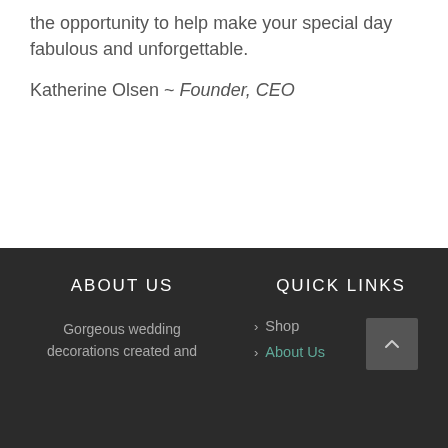the opportunity to help make your special day fabulous and unforgettable.
Katherine Olsen ~ Founder, CEO
ABOUT US | QUICK LINKS | Gorgeous wedding decorations created and ... | > Shop | > About Us